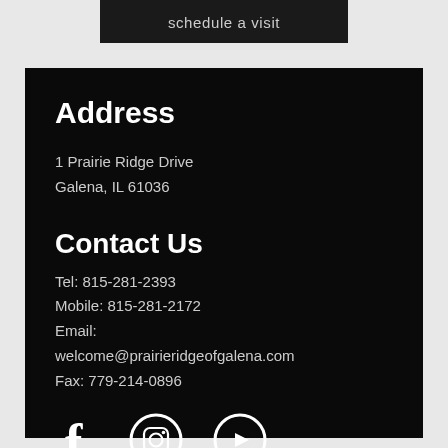schedule a visit
Address
1 Prairie Ridge Drive
Galena, IL 61036
Contact Us
Tel: 815-281-2393
Mobile: 815-281-2172
Email:
welcome@prairieridgeofgalena.com
Fax: 779-214-0896
[Figure (illustration): Social media icons: Facebook, Instagram, YouTube]